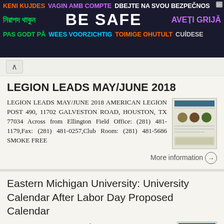[Figure (infographic): Multilingual safety banner ad with text BE SAFE in large white letters, surrounded by safety phrases in multiple languages (Albanian, Bengali, French, Danish, Dutch, Finnish, Romanian) in various colors on dark background]
LEGION LEADS MAY/JUNE 2018
LEGION LEADS MAY/JUNE 2018 AMERICAN LEGION POST 490, 11702 GALVESTON ROAD, HOUSTON, TX 77034 Across from Ellington Field Office: (281) 481-1179,Fax: (281) 481-0257,Club Room: (281) 481-5686 SMOKE FREE
More information →
Eastern Michigan University: University Calendar After Labor Day Proposed Calendar
Eastern Michigan University DigitalCommons@EMU Faculty Senate